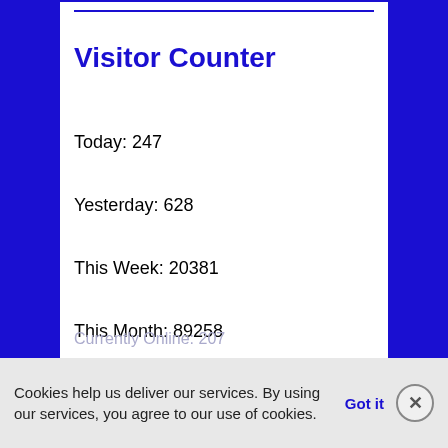Visitor Counter
Today: 247
Yesterday: 628
This Week: 20381
This Month: 89258
Total: 1303069
Currently Online: 207
Cookies help us deliver our services. By using our services, you agree to our use of cookies. Got it